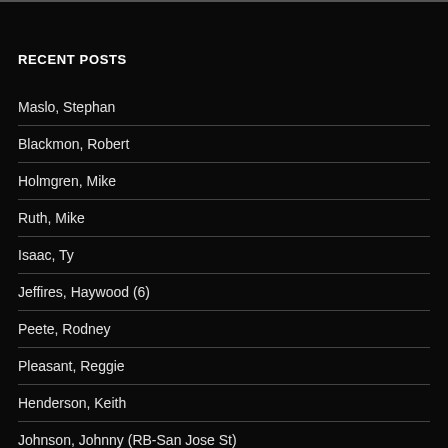RECENT POSTS
Maslo, Stephan
Blackmon, Robert
Holmgren, Mike
Ruth, Mike
Isaac, Ty
Jeffires, Haywood (6)
Peete, Rodney
Pleasant, Reggie
Henderson, Keith
Johnson, Johnny (RB-San Jose St)